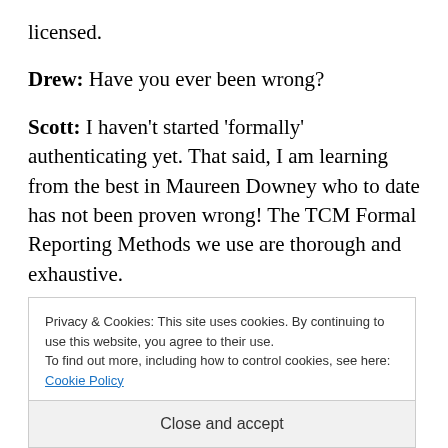licensed.
Drew: Have you ever been wrong?
Scott: I haven't started 'formally' authenticating yet. That said, I am learning from the best in Maureen Downey who to date has not been proven wrong! The TCM Formal Reporting Methods we use are thorough and exhaustive.
W... b... n...
Privacy & Cookies: This site uses cookies. By continuing to use this website, you agree to their use.
To find out more, including how to control cookies, see here: Cookie Policy
Close and accept